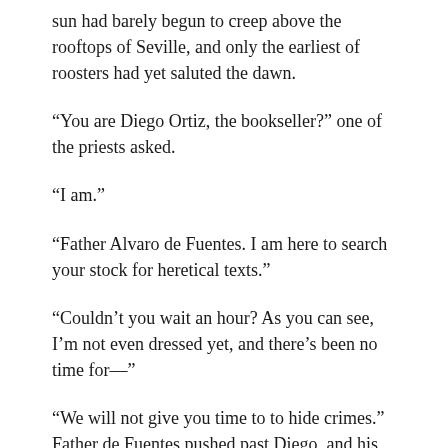sun had barely begun to creep above the rooftops of Seville, and only the earliest of roosters had yet saluted the dawn.
“You are Diego Ortiz, the bookseller?” one of the priests asked.
“I am.”
“Father Alvaro de Fuentes. I am here to search your stock for heretical texts.”
“Couldn’t you wait an hour? As you can see, I’m not even dressed yet, and there’s been no time for—”
“We will not give you time to to hide crimes.” Father de Fuentes pushed past Diego, and his companions followed him. “You may fetch a shirt, but one of the